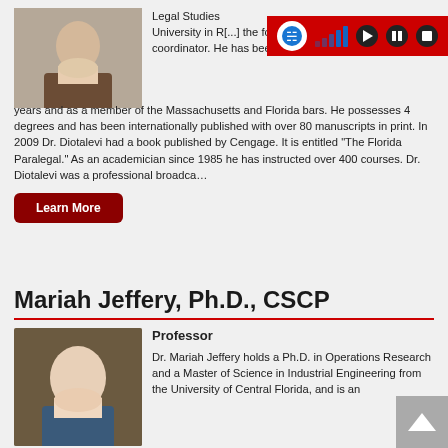[Figure (photo): Headshot of male professor in suit, smiling]
Legal Studies University in R[...] the founding Legal Studies Program coordinator. He has been a lawyer for 33 years and as a member of the Massachusetts and Florida bars. He possesses 4 degrees and has been internationally published with over 80 manuscripts in print. In 2009 Dr. Diotalevi had a book published by Cengage. It is entitled “The Florida Paralegal.” As an academician since 1985 he has instructed over 400 courses. Dr. Diotalevi was a professional broadca…
Learn More
Mariah Jeffery, Ph.D., CSCP
[Figure (photo): Headshot of female professor with blonde hair]
Professor
Dr. Mariah Jeffery holds a Ph.D. in Operations Research and a Master of Science in Industrial Engineering from the University of Central Florida, and is an